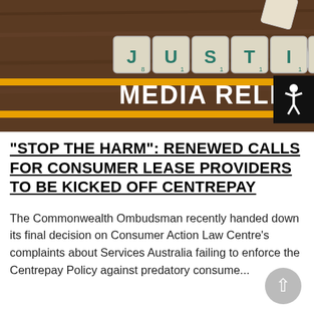[Figure (photo): Photo of scrabble tiles spelling JUSTICE on a wooden table with orange stripe overlay reading MEDIA RELEASE, plus a black accessibility icon button in the top-right corner]
“STOP THE HARM”: RENEWED CALLS FOR CONSUMER LEASE PROVIDERS TO BE KICKED OFF CENTREPAY
The Commonwealth Ombudsman recently handed down its final decision on Consumer Action Law Centre's complaints about Services Australia failing to enforce the Centrepay Policy against predatory consume...